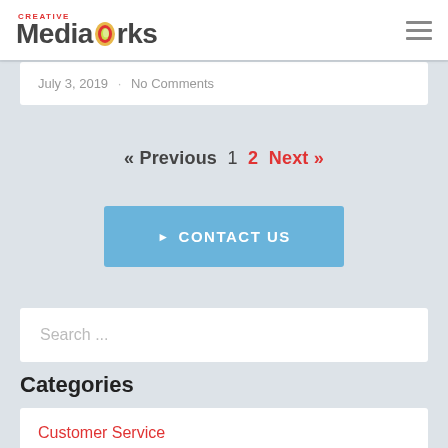Creative MediaWorks
July 3, 2019 · No Comments
« Previous  1  2  Next »
▶ CONTACT US
Search ...
Categories
Customer Service